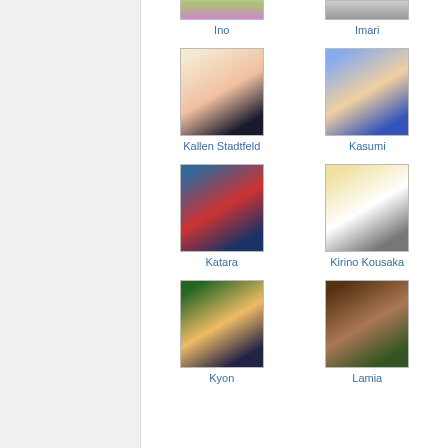[Figure (illustration): Anime character grid page showing characters: Ino, Imari, Kallen Stadtfeld, Kasumi, Katara, Kirino Kousaka, Kyon, Lamia]
Ino
Imari
Kallen Stadtfeld
Kasumi
Katara
Kirino Kousaka
Kyon
Lamia